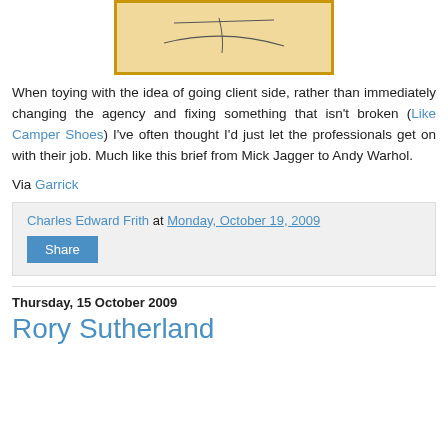[Figure (illustration): A sketched drawing on a tan/golden background with a dark orange border frame, appearing to be a simple line sketch.]
When toying with the idea of going client side, rather than immediately changing the agency and fixing something that isn't broken (Like Camper Shoes) I've often thought I'd just let the professionals get on with their job. Much like this brief from Mick Jagger to Andy Warhol.
Via Garrick
Charles Edward Frith at Monday, October 19, 2009
Share
Thursday, 15 October 2009
Rory Sutherland